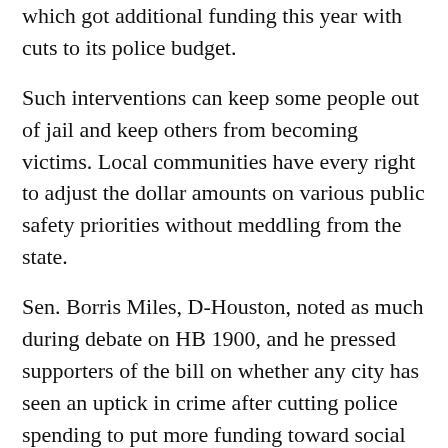which got additional funding this year with cuts to its police budget.
Such interventions can keep some people out of jail and keep others from becoming victims. Local communities have every right to adjust the dollar amounts on various public safety priorities without meddling from the state.
Sen. Borris Miles, D-Houston, noted as much during debate on HB 1900, and he pressed supporters of the bill on whether any city has seen an uptick in crime after cutting police spending to put more funding toward social needs. Sen. Joan Huffman, R-Houston, said she had seen no such data.
In the absence of that data, in the absence of a legitimate state interest, and in the absence of a proposal that would be fairly applied statewide, lawmakers proceeded anyway. Once again the Capitol has tightened its leash on cities, and once again it won't make anyone any safer.